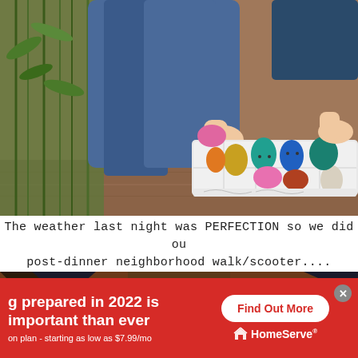[Figure (photo): Child sitting on brick pavement picking up colorful Easter eggs from a white box/tray. Various colored eggs visible: pink, teal, blue, orange, golden glitter, red/brown, white. Green plants/bamboo visible on the left side.]
The weather last night was PERFECTION so we did ou post-dinner neighborhood walk/scooter.... complet
[Figure (photo): Nighttime photo of brick building exterior with illuminated arched doorway/window, rooftops visible.]
[Figure (infographic): Red HomeServe advertisement banner. Text reads: 'g prepared in 2022 is important than ever' and 'on plan - starting as low as $7.99/mo'. Contains 'Find Out More' button and HomeServe logo with house icon. Close button in top right.]